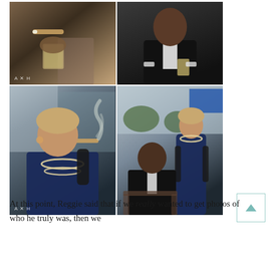[Figure (photo): Four-panel photo collage: top-left shows a man's hand holding a cigar and glass of whiskey; top-right shows a man in a tuxedo with bow tie drinking from a glass; bottom-left shows a woman in a navy sequin dress and pearls smoking a cigar with black gloves; bottom-right shows the same woman in the sequin gown standing next to a man in a tuxedo seated in a chair, posed in an outdoor setting.]
At this point, Reggie said that if we really wanted to get photos of who he truly was, then we